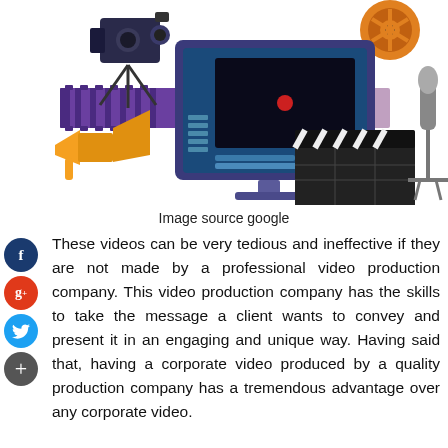[Figure (illustration): Illustration of video production equipment: film camera on tripod, megaphone, computer monitor with video editing software, film reels, clapperboard, microphone on stand, and film strips.]
Image source google
These videos can be very tedious and ineffective if they are not made by a professional video production company. This video production company has the skills to take the message a client wants to convey and present it in an engaging and unique way. Having said that, having a corporate video produced by a quality production company has a tremendous advantage over any corporate video.